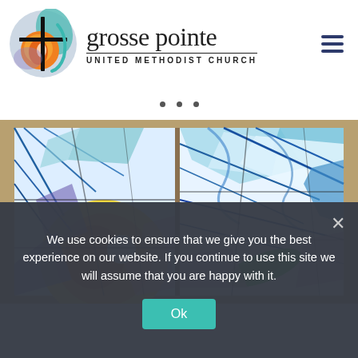[Figure (logo): Grosse Pointe United Methodist Church logo: circular emblem with cross, sun/flame motif in orange and teal, with church name text]
[Figure (other): Three navigation dots (slider indicators) on white background]
[Figure (photo): Stained glass window artwork showing abstract colorful design with blue, orange, yellow, purple, green, and pink glass pieces in gold/brown frame]
We use cookies to ensure that we give you the best experience on our website. If you continue to use this site we will assume that you are happy with it.
[Figure (other): Ok button (teal/cyan colored) for cookie consent]